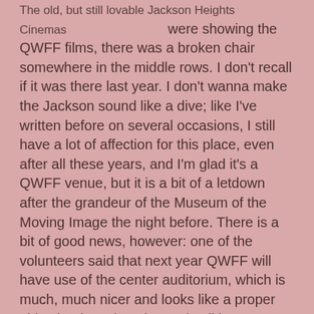The old, but still lovable Jackson Heights Cinemas were showing the QWFF films, there was a broken chair somewhere in the middle rows. I don't recall if it was there last year. I don't wanna make the Jackson sound like a dive; like I've written before on several occasions, I still have a lot of affection for this place, even after all these years, and I'm glad it's a QWFF venue, but it is a bit of a letdown after the grandeur of the Museum of the Moving Image the night before. There is a bit of good news, however: one of the volunteers said that next year QWFF will have use of the center auditorium, which is much, much nicer and looks like a proper old-school movie palace. That'll be a great improvement.
I had to hurry to get there on time and as it turned out, I was way earlier than expected. Seems there was some manner of cross-promotional deal with a local restaurant tied into this specific block of movies, and the would-be moviegoers were still in the process of completing dinner by the scheduled showtime. I heard Don Cato say that he had to encourage them to finish up and head on over to the theater so they could start the block, and eventually a big flock of people made their way inside. Councilman Daniel Dromm was